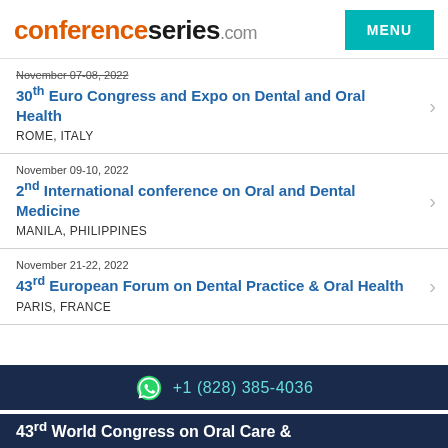conferenceseries.com
November 07-08, 2022
30th Euro Congress and Expo on Dental and Oral Health
ROME, ITALY
November 09-10, 2022
2nd International conference on Oral and Dental Medicine
MANILA, PHILIPPINES
November 21-22, 2022
43rd European Forum on Dental Practice & Oral Health
PARIS, FRANCE
+1 (828) 385-4036
43rd World Congress on Oral Care &